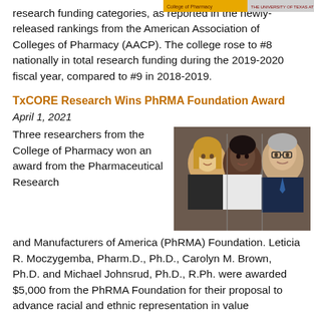[Figure (photo): Logo strip at top right corner of the page, yellow/gold color with small text]
research funding categories, as reported in the newly-released rankings from the American Association of Colleges of Pharmacy (AACP). The college rose to #8 nationally in total research funding during the 2019-2020 fiscal year, compared to #9 in 2018-2019.
TxCORE Research Wins PhRMA Foundation Award
April 1, 2021
Three researchers from the College of Pharmacy won an award from the Pharmaceutical Research and Manufacturers of America (PhRMA) Foundation. Leticia R. Moczygemba, Pharm.D., Ph.D., Carolyn M. Brown, Ph.D. and Michael Johnsrud, Ph.D., R.Ph. were awarded $5,000 from the PhRMA Foundation for their proposal to advance racial and ethnic representation in value assessments.
[Figure (photo): Photo of three researchers: a woman with long blonde hair, a Black woman, and a man with glasses, posed together]